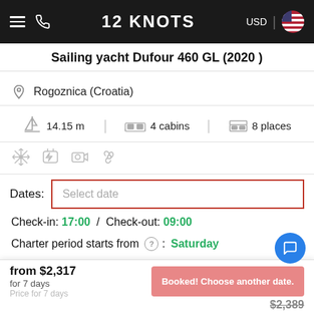12 KNOTS — USD — navigation header
Sailing yacht Dufour 460 GL (2020 )
Rogoznica (Croatia)
14.15 m  |  4 cabins  |  8 places
[Figure (infographic): Four amenity icons: snowflake/AC, charging, camera/entertainment, fan]
Dates: Select date
Check-in: 17:00 / Check-out: 09:00
Charter period starts from (?): Saturday
Lowest price from 29/10 to 05/11/2022
from $2,317
for 7 days
Booked! Choose another date.
$2,389